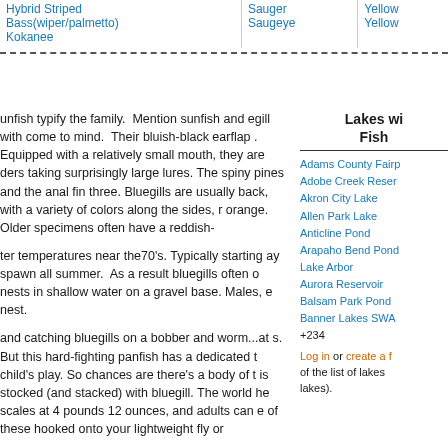| Hybrid Striped Bass(wiper/palmetto)
Kokanee | Sauger
Saugeye | Yellow...
Yellow... |
unfish typify the family. Mention sunfish and egill with come to mind. Their bluish-black earflap . Equipped with a relatively small mouth, they are ders taking surprisingly large lures. The spiny pines and the anal fin three. Bluegills are usually back, with a variety of colors along the sides, r orange. Older specimens often have a reddish-
ter temperatures near the70's. Typically starting ay spawn all summer. As a result bluegills often o nests in shallow water on a gravel base. Males, e nest.
and catching bluegills on a bobber and worm...at s. But this hard-fighting panfish has a dedicated t child's play. So chances are there's a body of t is stocked (and stacked) with bluegill. The world he scales at 4 pounds 12 ounces, and adults can e of these hooked onto your lightweight fly or
Lakes wi... Fish...
Adams County Fair...
Adobe Creek Reser...
Akron City Lake
Allen Park Lake
Anticline Pond
Arapaho Bend Pond...
Lake Arbor
Aurora Reservoir
Balsam Park Pond
Banner Lakes SWA...
+234
Log in or create a f... of the list of lakes ... lakes).